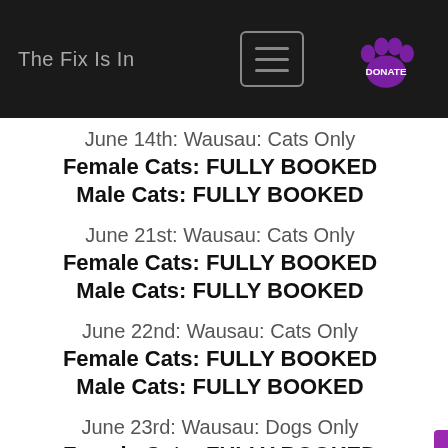The Fix Is In
June 14th: Wausau: Cats Only
Female Cats: FULLY BOOKED
Male Cats: FULLY BOOKED
June 21st: Wausau: Cats Only
Female Cats: FULLY BOOKED
Male Cats: FULLY BOOKED
June 22nd: Wausau: Cats Only
Female Cats: FULLY BOOKED
Male Cats: FULLY BOOKED
June 23rd: Wausau: Dogs Only
Female Cats: FULLY BOOKED
Male Cats: FULLY BOOKED
June 28th: Wausau: Cats Only: